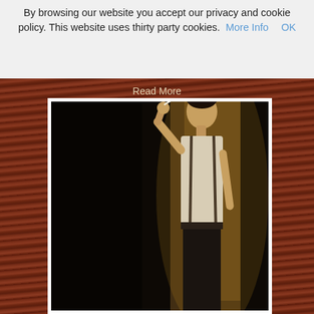By browsing our website you accept our privacy and cookie policy. This website uses thirty party cookies. More Info OK
Read More
[Figure (photo): Dark, moody noir-style photograph of a man in a white shirt with suspenders, leaning against a wall in a dimly lit alley or stairwell, smoking. The lighting is dramatic with deep shadows.]